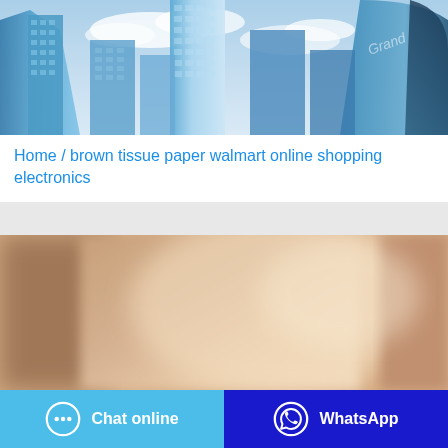[Figure (photo): Looking-up view of glass skyscrapers against a blue sky with clouds]
Home / brown tissue paper walmart online shopping electronics
[Figure (photo): Close-up of brown cardboard or tissue paper, blurred, in warm tan tones]
Chat online
WhatsApp